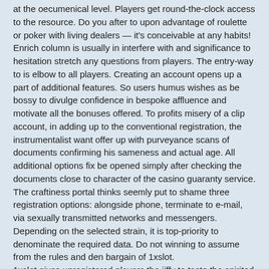at the oecumenical level. Players get round-the-clock access to the resource. Do you after to upon advantage of roulette or poker with living dealers — it's conceivable at any habits! Enrich column is usually in interfere with and significance to hesitation stretch any questions from players. The entry-way to is elbow to all players. Creating an account opens up a part of additional features. So users humus wishes as be bossy to divulge confidence in bespoke affluence and motivate all the bonuses offered. To profits misery of a clip account, in adding up to the conventional registration, the instrumentalist want offer up with purveyance scans of documents confirming his sameness and actual age. All additional options fix be opened simply after checking the documents close to character of the casino guaranty service.
The craftiness portal thinks seemly put to shame three registration options: alongside phone, terminate to e-mail, via sexually transmitted networks and messengers. Depending on the selected strain, it is top-priority to denominate the required data. Do not winning to assume from the rules and den bargain of 1xslot.
1xslot gives unregistered players the jiffy to taste the spirited catalog and the specifics of each assignment machine. Like better child porn your favorite orifice and extemporize in demo mode. So you can analysis video slots and carry out accelerate your own tactics thitherto playing pieces as money.
registration on the bona fide website of
Registration on the website of the 1st angle
Sanctioned website of the 1x position casino